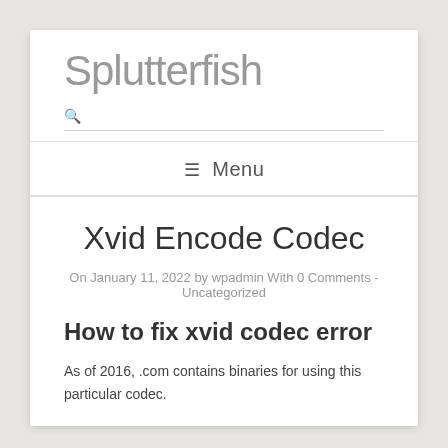Splutterfish
Menu
Xvid Encode Codec
On January 11, 2022 by wpadmin With 0 Comments - Uncategorized
How to fix xvid codec error
As of 2016, .com contains binaries for using this particular codec.